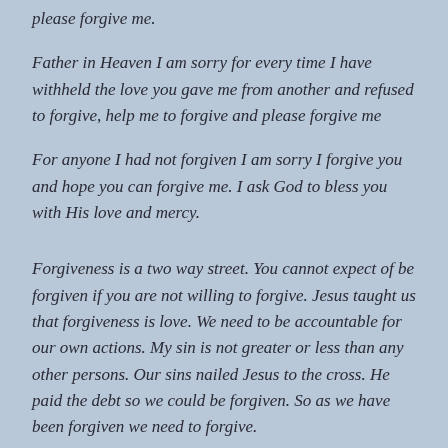please forgive me.
Father in Heaven I am sorry for every time I have withheld the love you gave me from another and refused to forgive, help me to forgive and please forgive me
For anyone I had not forgiven I am sorry I forgive you and hope you can forgive me. I ask God to bless you with His love and mercy.
Forgiveness is a two way street. You cannot expect of be forgiven if you are not willing to forgive. Jesus taught us that forgiveness is love. We need to be accountable for our own actions. My sin is not greater or less than any other persons. Our sins nailed Jesus to the cross. He paid the debt so we could be forgiven. So as we have been forgiven we need to forgive.